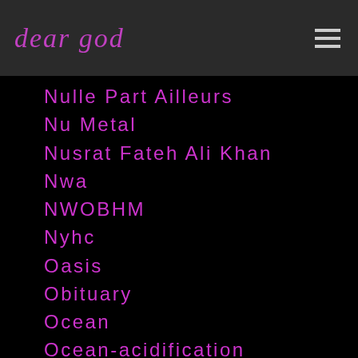dear god
Nulle Part Ailleurs
Nu Metal
Nusrat Fateh Ali Khan
Nwa
NWOBHM
Nyhc
Oasis
Obituary
Ocean
Ocean-acidification
Octopus
Odd-future
Off
OFF!
Officespace
Office-space